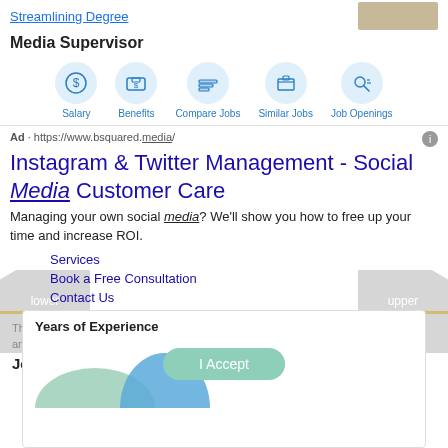Streamlining Degree
Media Supervisor
[Figure (infographic): Navigation icons row: Salary, Benefits, Compare Jobs, Similar Jobs, Job Openings — each with a light blue circle icon]
Ad · https://www.bsquared.media/
Instagram & Twitter Management - Social Media Customer Care
Managing your own social media? We'll show you how to free up your time and increase ROI.
Services
Book a Free Consultation
Contact Us
lower level job
upper level job
This site uses cookies and other similar technologies to provide site functionality, analyze traffic and usage, and deliver content tailored to your interests. | Learn More
Job Statistics
I Accept
Years of Experience